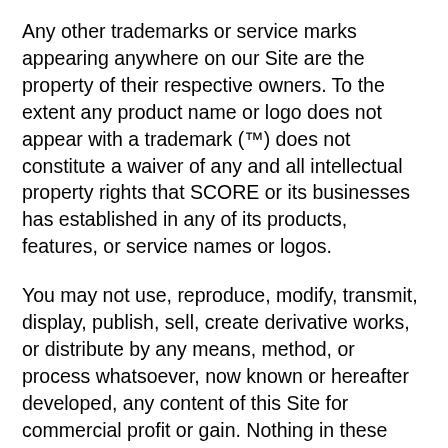Any other trademarks or service marks appearing anywhere on our Site are the property of their respective owners.  To the extent any product name or logo does not appear with a trademark (™) does not constitute a waiver of any and all intellectual property rights that SCORE or its businesses has established in any of its products, features, or service names or logos.
You may not use, reproduce, modify, transmit, display, publish, sell, create derivative works, or distribute by any means, method, or process whatsoever, now known or hereafter developed, any content of this Site for commercial profit or gain.  Nothing in these Terms or on the Site shall be construed as conferring any intellectual property or other proprietary rights